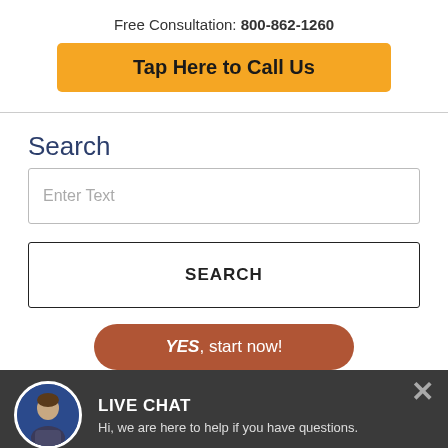Free Consultation: 800-862-1260
Tap Here to Call Us
Search
Enter Text
SEARCH
YES, start now!
LIVE CHAT
Hi, we are here to help if you have questions.